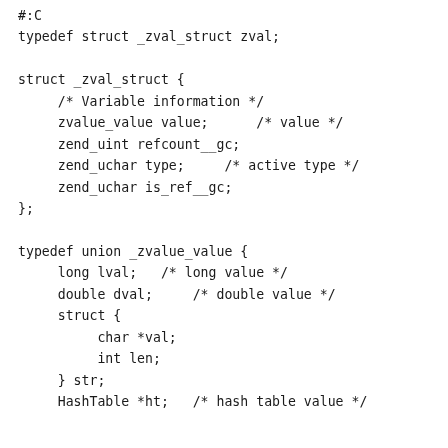#:C
typedef struct _zval_struct zval;

struct _zval_struct {
    /* Variable information */
    zvalue_value value;     /* value */
    zend_uint refcount__gc;
    zend_uchar type;    /* active type */
    zend_uchar is_ref__gc;
};

typedef union _zvalue_value {
    long lval;  /* long value */
    double dval;    /* double value */
    struct {
        char *val;
        int len;
    } str;
    HashTable *ht;  /* hash table value */